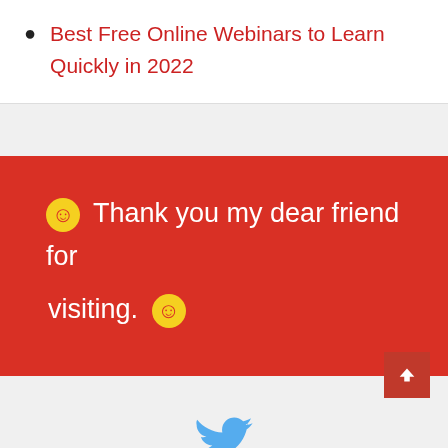Best Free Online Webinars to Learn Quickly in 2022
Thank you my dear friend for visiting.
[Figure (illustration): Twitter bird logo icon in blue]